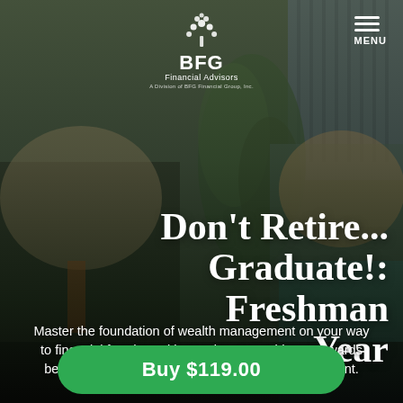[Figure (photo): Two people in a financial advisory meeting, a man in a suit with orange tie and a woman with blonde hair in teal top, seated in an office with plants and a lamp, dark-tinted overlay]
BFG Financial Advisors
Don't Retire... Graduate!: Freshman Year
Master the foundation of wealth management on your way to financial freedom with step-by-step guidance towards better cash flow and more effective debt management.
Buy $119.00